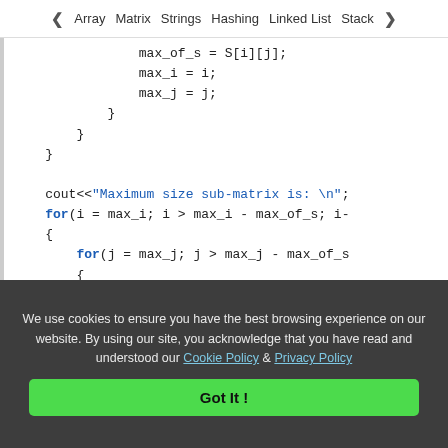< Array   Matrix   Strings   Hashing   Linked List   Stack >
Code snippet showing C++ code for maximum sub-matrix with for loops and cout statements
We use cookies to ensure you have the best browsing experience on our website. By using our site, you acknowledge that you have read and understood our Cookie Policy & Privacy Policy
Got It !